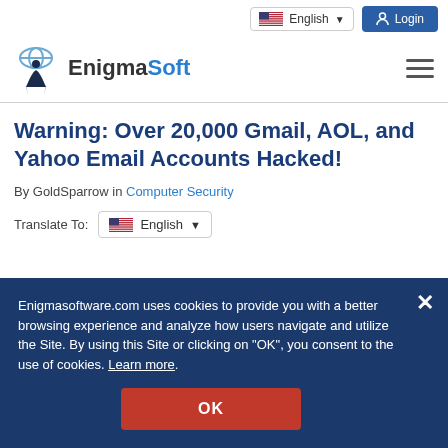EnigmaSoft — English | Login
Warning: Over 20,000 Gmail, AOL, and Yahoo Email Accounts Hacked!
By GoldSparrow in Computer Security
Translate To: English
Enigmasoftware.com uses cookies to provide you with a better browsing experience and analyze how users navigate and utilize the Site. By using this Site or clicking on "OK", you consent to the use of cookies. Learn more.